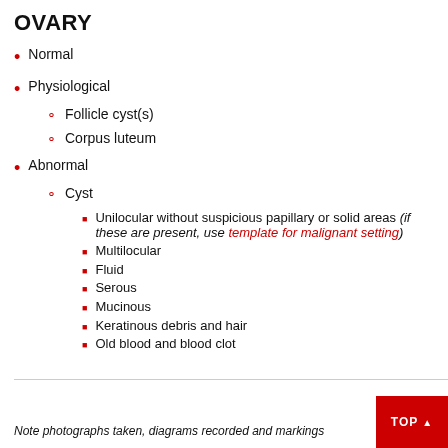OVARY
Normal
Physiological
Follicle cyst(s)
Corpus luteum
Abnormal
Cyst
Unilocular without suspicious papillary or solid areas (if these are present, use template for malignant setting)
Multilocular
Fluid
Serous
Mucinous
Keratinous debris and hair
Old blood and blood clot
Note photographs taken, diagrams recorded and markings